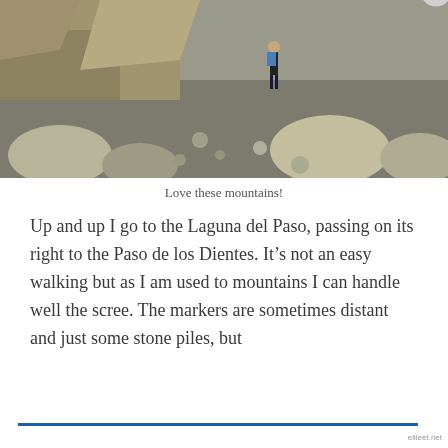[Figure (photo): A hiker with a blue backpack standing on a rocky mountain scree slope with large boulders and rocky terrain in the background.]
Love these mountains!
Up and up I go to the Laguna del Paso, passing on its right to the Paso de los Dientes. It’s not an easy walking but as I am used to mountains I can handle well the scree. The markers are sometimes distant and just some stone piles, but
Privacy & Cookies: This site uses cookies. By continuing to use this website, you agree to their use.
To find out more, including how to control cookies, see here: Cookie Policy
Close and accept